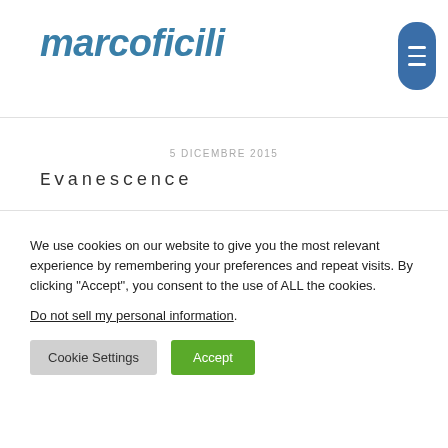marcoficili
5 Dicembre 2015
Evanescence
We use cookies on our website to give you the most relevant experience by remembering your preferences and repeat visits. By clicking “Accept”, you consent to the use of ALL the cookies. Do not sell my personal information.
Cookie Settings | Accept